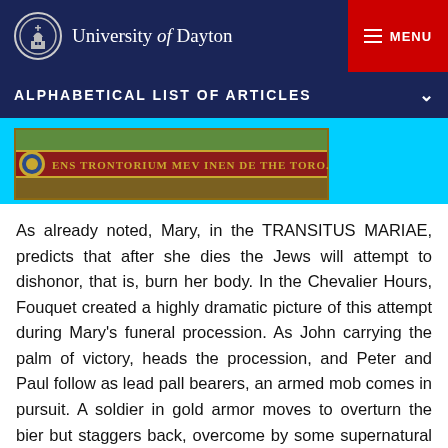University of Dayton
ALPHABETICAL LIST OF ARTICLES
[Figure (photo): A decorative manuscript or painting banner showing Latin text on a red and gold background, partially legible as 'ENS TRONTORIUM MEV INEN DE THE TORO...']
As already noted, Mary, in the TRANSITUS MARIAE, predicts that after she dies the Jews will attempt to dishonor, that is, burn her body. In the Chevalier Hours, Fouquet created a highly dramatic picture of this attempt during Mary's funeral procession. As John carrying the palm of victory, heads the procession, and Peter and Paul follow as lead pall bearers, an armed mob comes in pursuit. A soldier in gold armor moves to overturn the bier but staggers back, overcome by some supernatural forces while angels above